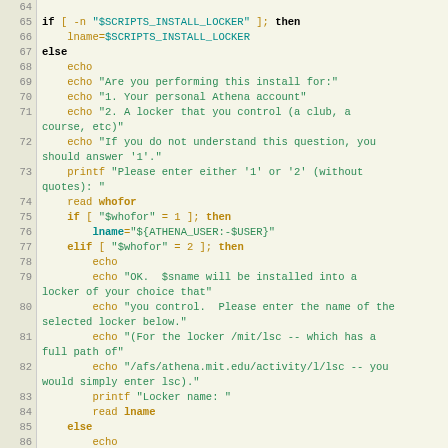Shell script code listing, lines 64-90, showing bash script with if/else/elif blocks handling installation locker selection logic.